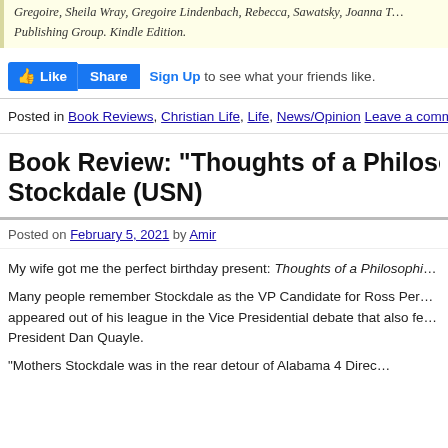Gregoire, Sheila Wray, Gregoire Lindenbach, Rebecca, Sawatsky, Joanna T... Publishing Group. Kindle Edition.
[Figure (screenshot): Facebook Like and Share buttons with Sign Up link]
Posted in Book Reviews, Christian Life, Life, News/Opinion Leave a comment
Book Review: “Thoughts of a Philosophical Fighter Pilot” by James B. Stockdale (USN)
Posted on February 5, 2021 by Amir
My wife got me the perfect birthday present: Thoughts of a Philosophical Fig...
Many people remember Stockdale as the VP Candidate for Ross Perot in h... appeared out of his league in the Vice Presidential debate that also featur... President Dan Quayle.
“Mothers Stockdale was in the rear detour of Alabama 4 Direc...